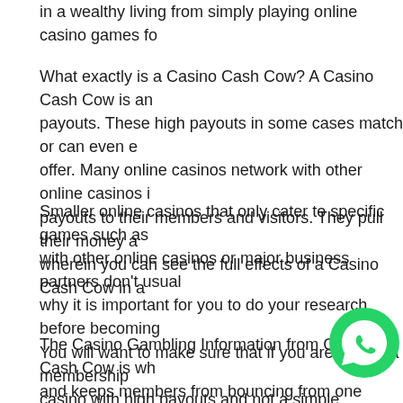in a wealthy living from simply playing online casino games fo
What exactly is a Casino Cash Cow? A Casino Cash Cow is an online casino with exceptionally high payouts. These high payouts in some cases match or can even exceed what land-based casinos have to offer. Many online casinos network with other online casinos in order to provide even higher payouts to their members and visitors. They pull their money and resources together wherein you can see the full effects of a Casino Cash Cow in action.
Smaller online casinos that only cater to specific games such as slots and do not network with other online casinos or major business partners don't usually have high payouts. This is why it is important for you to do your research before becoming a member of an online casino. You will want to make sure that if you are paying a membership fee you are joining a casino with high payouts and not a simple "backyard" casino wi kiss918
The Casino Gambling Information from Casino Cash Cow is wh and keeps members from bouncing from one online c casinos have pulled their resources together in order t basis. Working together they can pull in hundreds of thousands